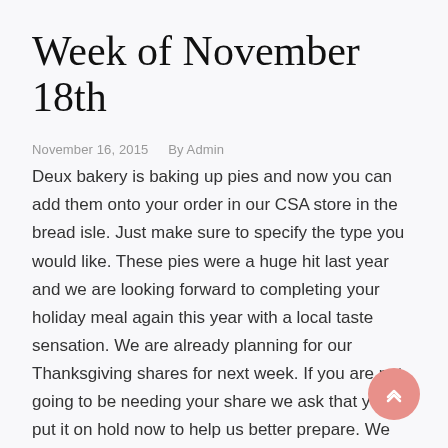Week of November 18th
November 16, 2015   By Admin
Deux bakery is baking up pies and now you can add them onto your order in our CSA store in the bread isle. Just make sure to specify the type you would like. These pies were a huge hit last year and we are looking forward to completing your holiday meal again this year with a local taste sensation. We are already planning for our Thanksgiving shares for next week. If you are not going to be needing your share we ask that you put it on hold now to help us better prepare. We will post the CSA blog ASAP on Monday so you can plan everything else that you will need. Feel free to email me if you have